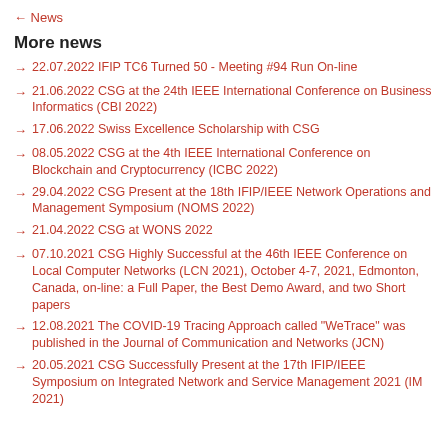← News
More news
22.07.2022 IFIP TC6 Turned 50 - Meeting #94 Run On-line
21.06.2022 CSG at the 24th IEEE International Conference on Business Informatics (CBI 2022)
17.06.2022 Swiss Excellence Scholarship with CSG
08.05.2022 CSG at the 4th IEEE International Conference on Blockchain and Cryptocurrency (ICBC 2022)
29.04.2022 CSG Present at the 18th IFIP/IEEE Network Operations and Management Symposium (NOMS 2022)
21.04.2022 CSG at WONS 2022
07.10.2021 CSG Highly Successful at the 46th IEEE Conference on Local Computer Networks (LCN 2021), October 4-7, 2021, Edmonton, Canada, on-line: a Full Paper, the Best Demo Award, and two Short papers
12.08.2021 The COVID-19 Tracing Approach called "WeTrace" was published in the Journal of Communication and Networks (JCN)
20.05.2021 CSG Successfully Present at the 17th IFIP/IEEE Symposium on Integrated Network and Service Management 2021 (IM 2021)